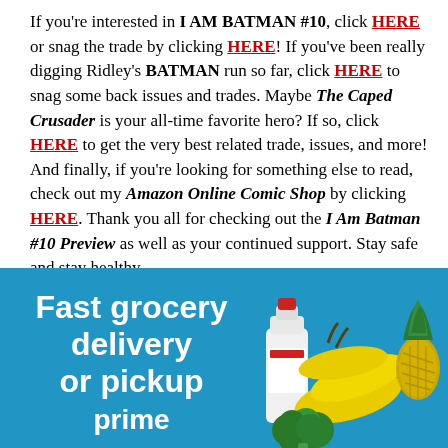If you're interested in I AM BATMAN #10, click HERE or snag the trade by clicking HERE! If you've been really digging Ridley's BATMAN run so far, click HERE to snag some back issues and trades. Maybe The Caped Crusader is your all-time favorite hero? If so, click HERE to get the very best related trade, issues, and more! And finally, if you're looking for something else to read, check out my Amazon Online Comic Shop by clicking HERE. Thank you all for checking out the I Am Batman #10 Preview as well as your continued support. Stay safe and stay healthy.
[Figure (infographic): Amazon grocery delivery advertisement banner with blue background showing text 'Fast grocery delivery or pickup prime' on the left side and grocery items (milk jug, bananas, pineapple, broccoli) on the right side.]